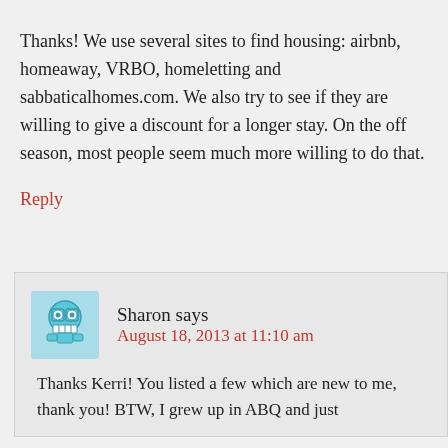Thanks! We use several sites to find housing: airbnb, homeaway, VRBO, homeletting and sabbaticalhomes.com. We also try to see if they are willing to give a discount for a longer stay. On the off season, most people seem much more willing to do that.
Reply
Sharon says
August 18, 2013 at 11:10 am
Thanks Kerri! You listed a few which are new to me, thank you! BTW, I grew up in ABQ and just